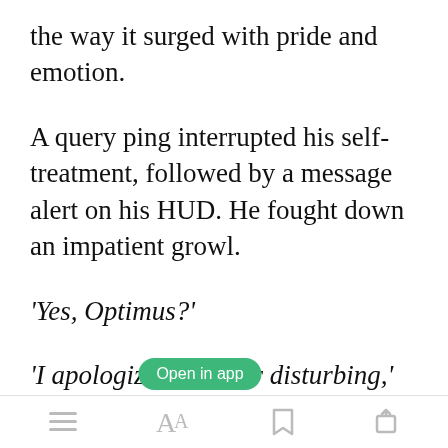the way it surged with pride and emotion.
A query ping interrupted his self-treatment, followed by a message alert on his HUD. He fought down an impatient growl.
‘Yes, Optimus?’
‘I apologize again for disturbing,’
[Figure (screenshot): Green 'Open in app' button overlay]
Bottom navigation bar with menu, font, bookmark, and share icons